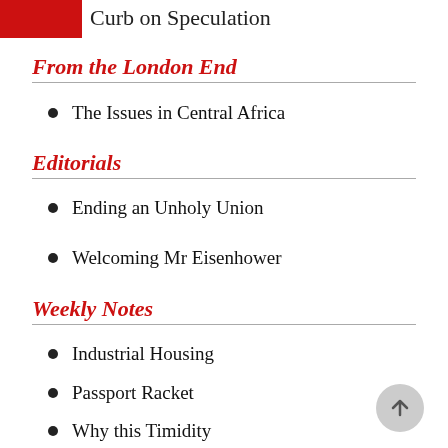Curb on Speculation
From the London End
The Issues in Central Africa
Editorials
Ending an Unholy Union
Welcoming Mr Eisenhower
Weekly Notes
Industrial Housing
Passport Racket
Why this Timidity
Little Change In Kenya